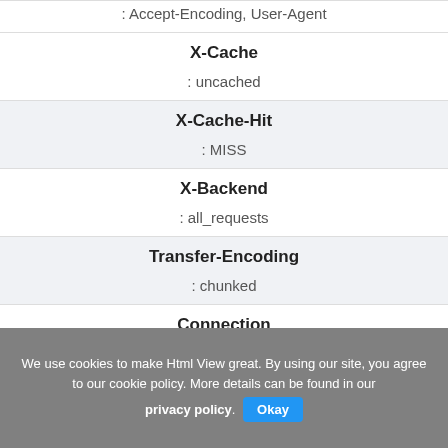| Header | Value |
| --- | --- |
|  | : Accept-Encoding, User-Agent |
| X-Cache | : uncached |
| X-Cache-Hit | : MISS |
| X-Backend | : all_requests |
| Transfer-Encoding | : chunked |
| Connection | : keep-alive |
We use cookies to make Html View great. By using our site, you agree to our cookie policy. More details can be found in our privacy policy. Okay